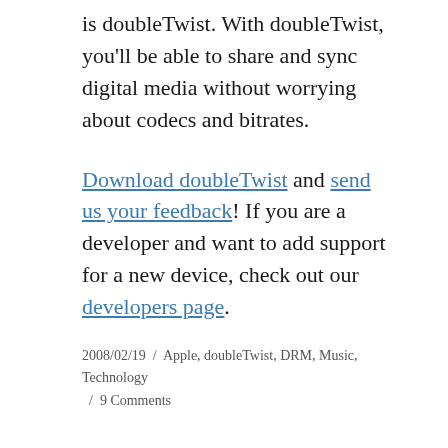is doubleTwist. With doubleTwist, you'll be able to share and sync digital media without worrying about codecs and bitrates.
Download doubleTwist and send us your feedback! If you are a developer and want to add support for a new device, check out our developers page.
2008/02/19 / Apple, doubleTwist, DRM, Music, Technology / 9 Comments
Quote of the day
A friend sent me this quote: